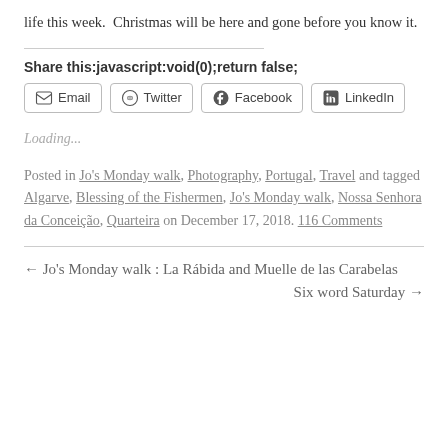life this week.  Christmas will be here and gone before you know it.
Share this:javascript:void(0);return false;
Loading...
Posted in Jo's Monday walk, Photography, Portugal, Travel and tagged Algarve, Blessing of the Fishermen, Jo's Monday walk, Nossa Senhora da Conceição, Quarteira on December 17, 2018. 116 Comments
← Jo's Monday walk : La Rábida and Muelle de las Carabelas
Six word Saturday →